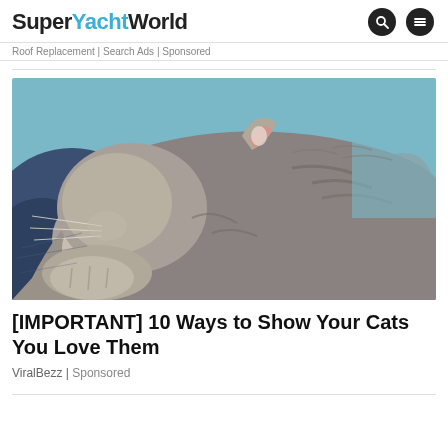SuperYachtWorld
Roof Replacement | Search Ads | Sponsored
[Figure (photo): A grey tabby cat curled up sleeping, with its head tucked in, showing its ear and whiskers, resting on what appears to be a blue fabric surface.]
[IMPORTANT] 10 Ways to Show Your Cats You Love Them
ViralBezz | Sponsored